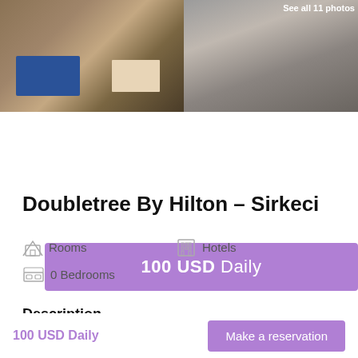[Figure (photo): Hotel room photos: left shows bedroom with blue armchair and patterned carpet, right shows bathroom with glass shower and stone vanity]
100 USD Daily
Doubletree By Hilton – Sirkeci
Rooms
Hotels
0 Bedrooms
Description
100 USD Daily
Make a reservation